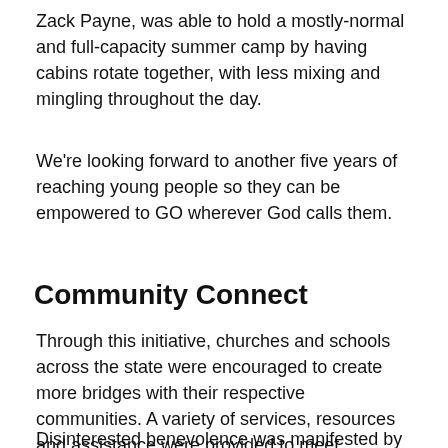Zack Payne, was able to hold a mostly-normal and full-capacity summer camp by having cabins rotate together, with less mixing and mingling throughout the day.
We're looking forward to another five years of reaching young people so they can be empowered to GO wherever God calls them.
Community Connect
Through this initiative, churches and schools across the state were encouraged to create more bridges with their respective communities. A variety of services, resources and assistance were provided to meet personal and community needs.
Disinterested benevolence was manifested by